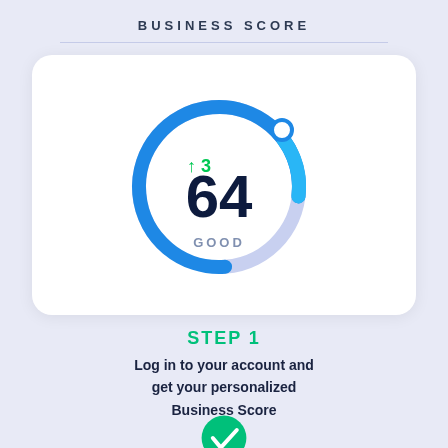BUSINESS SCORE
[Figure (donut-chart): Circular gauge showing a Business Score of 64 rated GOOD, with an upward arrow indicating +3 change. The gauge arc is mostly blue with a lighter blue segment. A small circle indicator sits at the top-right of the arc.]
STEP 1
Log in to your account and get your personalized Business Score
[Figure (illustration): Green circular checkmark icon (partially visible at bottom)]